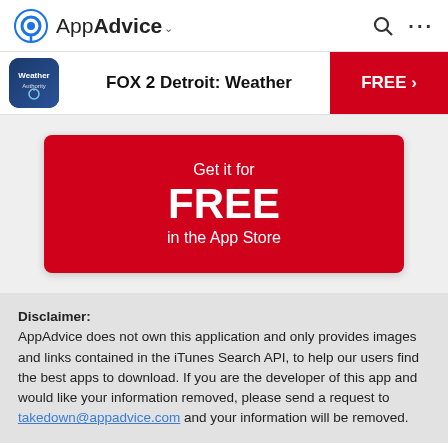AppAdvice
FOX 2 Detroit: Weather
[Figure (other): Red button/card with text: Get it for FREE in the App Store]
Disclaimer: AppAdvice does not own this application and only provides images and links contained in the iTunes Search API, to help our users find the best apps to download. If you are the developer of this app and would like your information removed, please send a request to takedown@appadvice.com and your information will be removed.